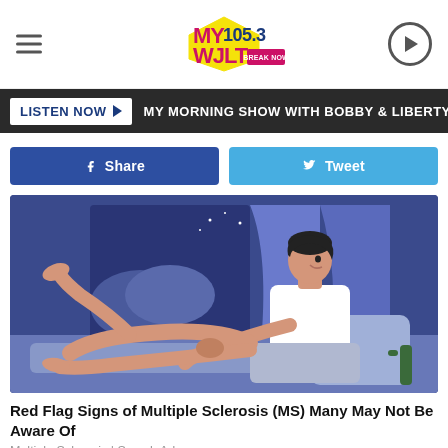MY 105.3 WJLT
LISTEN NOW ▶ MY MORNING SHOW WITH BOBBY & LIBERTY
Share
Tweet
[Figure (illustration): Illustration of a man sitting up in bed at night, rubbing his leg, with a nighttime window scene in the background]
Red Flag Signs of Multiple Sclerosis (MS) Many May Not Be Aware Of
Multiple Sclerosis | Search Ads